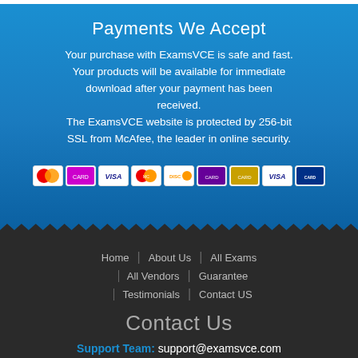Payments We Accept
Your purchase with ExamsVCE is safe and fast. Your products will be available for immediate download after your payment has been received. The ExamsVCE website is protected by 256-bit SSL from McAfee, the leader in online security.
[Figure (other): Row of 9 payment method icons including Maestro, various card brands, Visa, Mastercard, Discover, and others on white background tiles]
Home | About Us | All Exams
All Vendors | Guarantee
Testimonials | Contact US
Contact Us
Support Team: support@examsvce.com